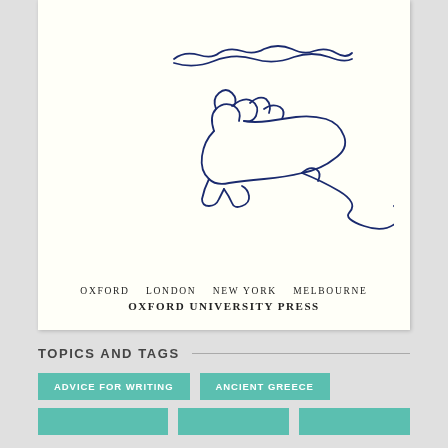[Figure (illustration): A scanned book title page showing a handwritten signature or inscription at top and a simple ink sketch of an animal (possibly a cat or small creature) drawn in blue pen, with publisher information below.]
OXFORD   LONDON   NEW YORK   MELBOURNE
OXFORD UNIVERSITY PRESS
TOPICS AND TAGS
ADVICE FOR WRITING
ANCIENT GREECE